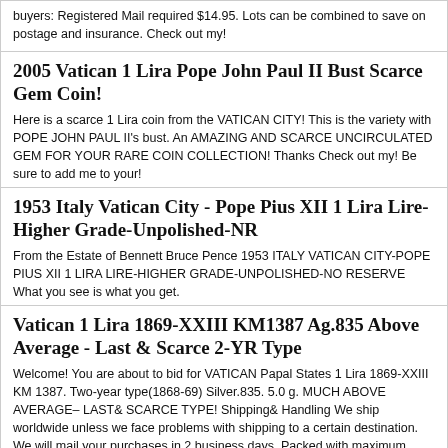buyers: Registered Mail required $14.95. Lots can be combined to save on postage and insurance. Check out my!
2005 VATICAN 1 Lira POPE JOHN PAUL II Bust SCARCE GEM Coin!
Here is a scarce 1 Lira coin from the VATICAN CITY! This is the variety with POPE JOHN PAUL II's bust. An AMAZING AND SCARCE UNCIRCULATED GEM FOR YOUR RARE COIN COLLECTION! Thanks Check out my! Be sure to add me to your!
1953 ITALY VATICAN CITY - POPE PIUS XII 1 LIRA LIRE-HIGHER GRADE-UNPOLISHED-NR
From the Estate of Bennett Bruce Pence 1953 ITALY VATICAN CITY-POPE PIUS XII 1 LIRA LIRE-HIGHER GRADE-UNPOLISHED-NO RESERVE What you see is what you get.
VATICAN 1 Lira 1869-XXIII KM1387 Ag.835 ABOVE AVERAGE - LAST & SCARCE 2-YR TYPE
Welcome! You are about to bid for VATICAN Papal States 1 Lira 1869-XXIII KM 1387. Two-year type(1868-69) Silver.835. 5.0 g. MUCH ABOVE AVERAGE– LAST& SCARCE TYPE! Shipping& Handling We ship worldwide unless we face problems with shipping to a certain destination. We will mail your purchases in 2 business days. Packed with maximum care. All our Buy Now/Best Offer items are to be shipped for FREE! Our Auctions' items are to be shipped according to the following rates: Canada- USD 1.80 U.S.A- USD 0.80 Other...